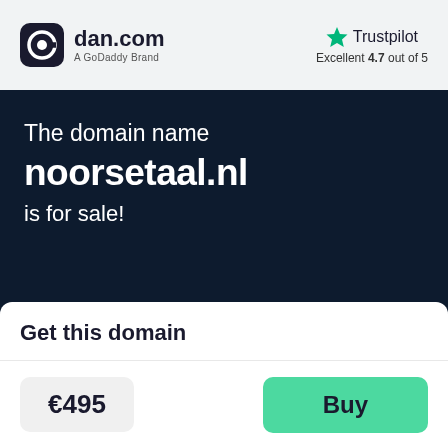[Figure (logo): dan.com logo with rounded square icon and 'A GoDaddy Brand' text below]
[Figure (logo): Trustpilot logo with green star and rating 'Excellent 4.7 out of 5']
The domain name
noorsetaal.nl
is for sale!
Get this domain
€495
Buy